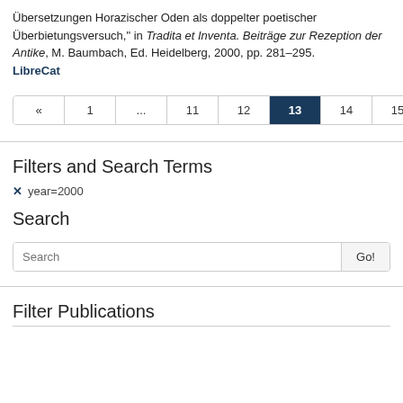Übersetzungen Horazischer Oden als doppelter poetischer Überbietungsversuch," in Tradita et Inventa. Beiträge zur Rezeption der Antike, M. Baumbach, Ed. Heidelberg, 2000, pp. 281–295. LibreCat
[Figure (other): Pagination bar showing pages: « 1 ... 11 12 13 (active) 14 15 »]
Filters and Search Terms
✕ year=2000
Search
[Figure (other): Search input box with placeholder 'Search' and a 'Go!' button]
Filter Publications